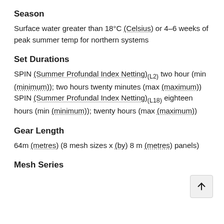Season
Surface water greater than 18°C (Celsius) or 4–6 weeks of peak summer temp for northern systems
Set Durations
SPIN (Summer Profundal Index Netting)(L2) two hour (min (minimum)); two hours twenty minutes (max (maximum)) SPIN (Summer Profundal Index Netting)(L18) eighteen hours (min (minimum)); twenty hours (max (maximum))
Gear Length
64m (metres) (8 mesh sizes x (by) 8 m (metres) panels)
Mesh Series